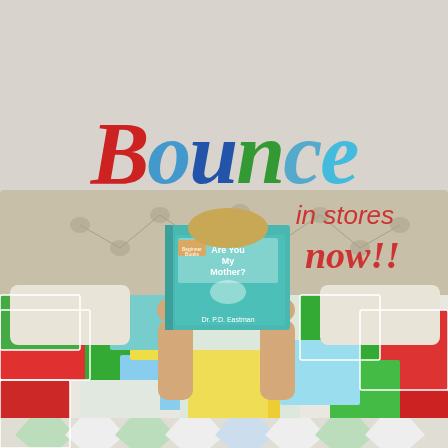[Figure (photo): A person lying in bed reading a book titled 'Are You My Mother?' by Dr. Seuss, holding it up so their face is hidden. The bed is covered with a colorful patchwork quilt in red, green, blue, yellow, and white. The headboard is a tufted beige/tan upholstered board. The background wall is a light grey-beige color. Text overlay reads 'Bounce in stores now!!' with colorful lettering.]